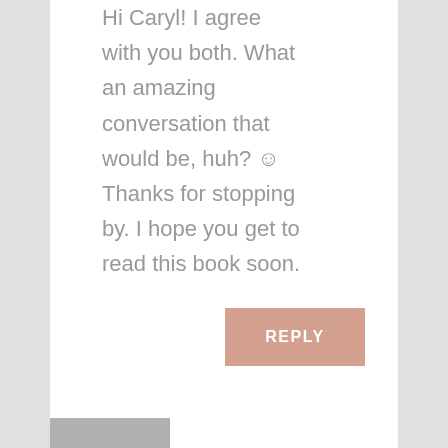Hi Caryl! I agree with you both. What an amazing conversation that would be, huh? ☺ Thanks for stopping by. I hope you get to read this book soon.
REPLY